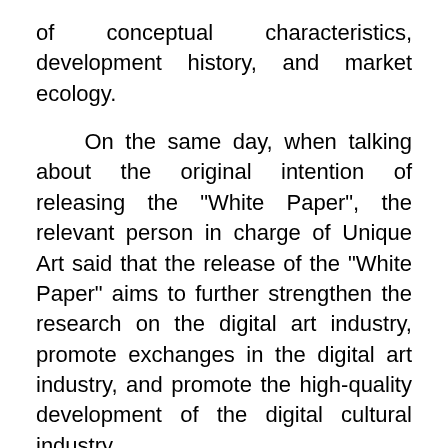of conceptual characteristics, development history, and market ecology.
On the same day, when talking about the original intention of releasing the "White Paper", the relevant person in charge of Unique Art said that the release of the "White Paper" aims to further strengthen the research on the digital art industry, promote exchanges in the digital art industry, and promote the high-quality development of the digital cultural industry.
Vision Without Boundaries: Global Digital Art Market Research Report 2022.
The relevant person in charge...